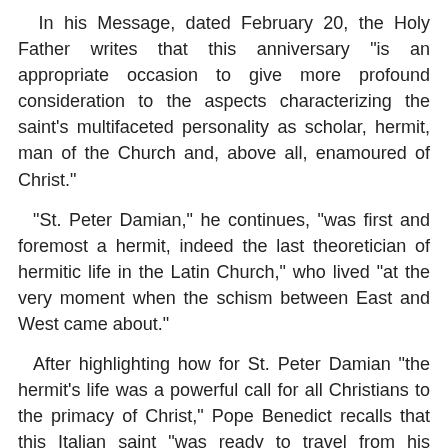In his Message, dated February 20, the Holy Father writes that this anniversary "is an appropriate occasion to give more profound consideration to the aspects characterizing the saint's multifaceted personality as scholar, hermit, man of the Church and, above all, enamoured of Christ."
"St. Peter Damian," he continues, "was first and foremost a hermit, indeed the last theoretician of hermitic life in the Latin Church," who lived "at the very moment when the schism between East and West came about."
After highlighting how for St. Peter Damian "the hermit's life was a powerful call for all Christians to the primacy of Christ," Pope Benedict recalls that this Italian saint "was ready to travel from his hermitage and go anywhere his presence was necessary to mediate between contending parties, whether they were ecclesiastics, monks or simple faithful."
"After each ecclesiastical mission he returned to the peace of his hermitage of Fonte Avellana and, free of all ambition,